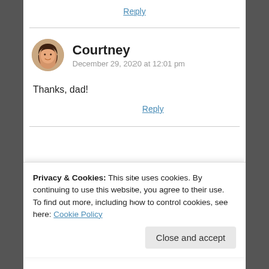Reply
[Figure (illustration): Circular avatar photo of Courtney, a woman with dark hair, smiling]
Courtney
December 29, 2020 at 12:01 pm
Thanks, dad!
Reply
Privacy & Cookies: This site uses cookies. By continuing to use this website, you agree to their use.
To find out more, including how to control cookies, see here: Cookie Policy
Close and accept